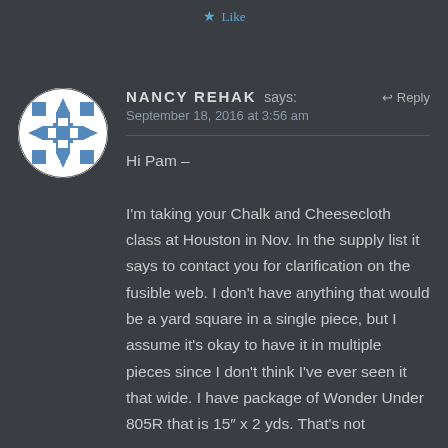Like
[Figure (illustration): Circular avatar with blue and white geometric snowflake/cross pattern on white background]
NANCY REHAK says:  Reply
September 18, 2016 at 3:56 am
Hi Pam –

I'm taking your Chalk and Cheesecloth class at Houston in Nov. In the supply list it says to contact you for clarification on the fusible web. I don't have anything that would be a yard square in a single piece, but I assume it's okay to have it in multiple pieces since I don't think I've ever seen it that wide. I have package of Wonder Under 805R that is 15″ x 2 yds. That's not